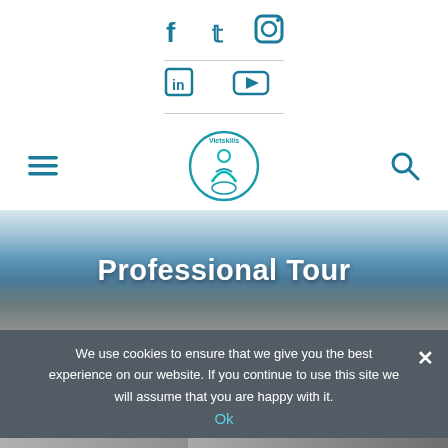[Figure (screenshot): Social media icons row 1: Facebook, Twitter, Instagram in teal/blue color]
[Figure (screenshot): Social media icons row 2: LinkedIn, YouTube in teal/blue color, separated by horizontal divider lines]
[Figure (logo): Vietskills circular logo with figure illustration in teal]
[Figure (photo): Hero image of ocean/sea with horizon, blue water and sky]
Professional Tour
We use cookies to ensure that we give you the best experience on our website. If you continue to use this site we will assume that you are happy with it.
Ok